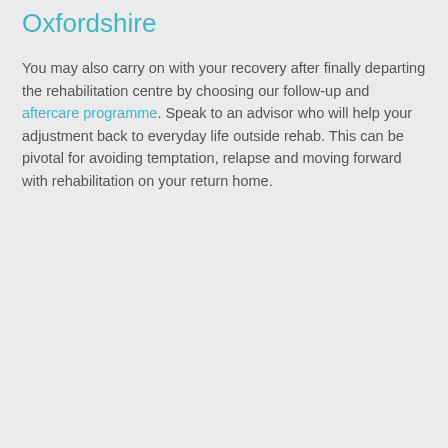Oxfordshire
You may also carry on with your recovery after finally departing the rehabilitation centre by choosing our follow-up and aftercare programme. Speak to an advisor who will help your adjustment back to everyday life outside rehab. This can be pivotal for avoiding temptation, relapse and moving forward with rehabilitation on your return home.